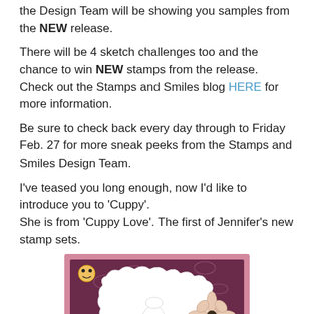the Design Team will be showing you samples from the NEW release.
There will be 4 sketch challenges too and the chance to win NEW stamps from the release. Check out the Stamps and Smiles blog HERE for more information.
Be sure to check back every day through to Friday Feb. 27 for more sneak peeks from the Stamps and Smiles Design Team.
I've teased you long enough, now I'd like to introduce you to 'Cuppy'.
She is from 'Cuppy Love'. The first of Jennifer's new stamp sets.
[Figure (photo): A handmade greeting card with pink background featuring a cupcake character stamp ('Cuppy') with a decorative flower embellishment. Card is stamped and decorated with ribbon.]